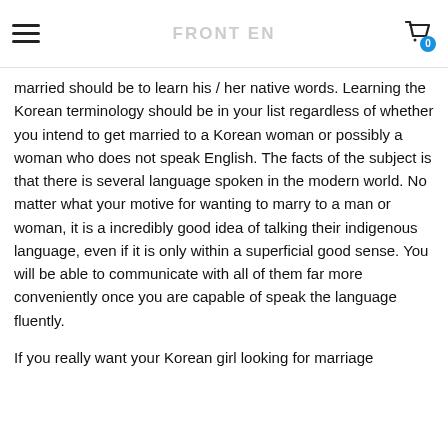≡  [logo]  [cart 0]
married should be to learn his / her native words. Learning the Korean terminology should be in your list regardless of whether you intend to get married to a Korean woman or possibly a woman who does not speak English. The facts of the subject is that there is several language spoken in the modern world. No matter what your motive for wanting to marry to a man or woman, it is a incredibly good idea of talking their indigenous language, even if it is only within a superficial good sense. You will be able to communicate with all of them far more conveniently once you are capable of speak the language fluently.
If you really want your Korean girl looking for marriage [continues below cut]